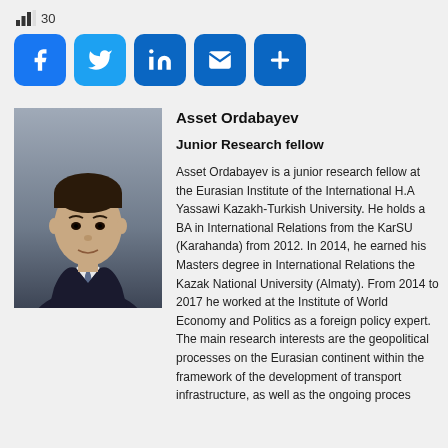30
[Figure (infographic): Social sharing buttons: Facebook, Twitter, LinkedIn, Email, More (+)]
[Figure (photo): Headshot photo of Asset Ordabayev, a young man in a dark suit and tie, against a grey background]
Asset Ordabayev
Junior Research fellow
Asset Ordabayev is a junior research fellow at the Eurasian Institute of the International H.A Yassawi Kazakh-Turkish University. He holds a BA in International Relations from the KarSU (Karahanda) from 2012. In 2014, he earned his Masters degree in International Relations the Kazak National University (Almaty). From 2014 to 2017 he worked at the Institute of World Economy and Politics as a foreign policy expert. The main research interests are the geopolitical processes on the Eurasian continent within the framework of the development of transport infrastructure, as well as the ongoing proces